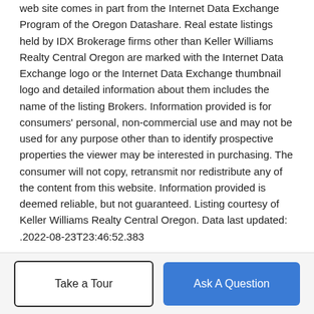web site comes in part from the Internet Data Exchange Program of the Oregon Datashare. Real estate listings held by IDX Brokerage firms other than Keller Williams Realty Central Oregon are marked with the Internet Data Exchange logo or the Internet Data Exchange thumbnail logo and detailed information about them includes the name of the listing Brokers. Information provided is for consumers' personal, non-commercial use and may not be used for any purpose other than to identify prospective properties the viewer may be interested in purchasing. The consumer will not copy, retransmit nor redistribute any of the content from this website. Information provided is deemed reliable, but not guaranteed. Listing courtesy of Keller Williams Realty Central Oregon. Data last updated: .2022-08-23T23:46:52.383
BoomTown! © 2022 | Terms of Use | Privacy Policy | Accessibility | DMCA | Listings Sitemap
Take a Tour
Ask A Question